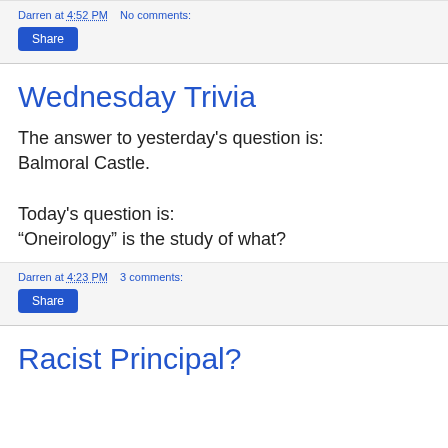Darren at 4:52 PM   No comments:
Share
Wednesday Trivia
The answer to yesterday's question is: Balmoral Castle.

Today's question is:
“Oneirology” is the study of what?
Darren at 4:23 PM   3 comments:
Share
Racist Principal?